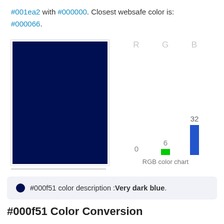#001ea2 with #000000. Closest websafe color is: #000066.
[Figure (bar-chart): RGB color chart]
#000f51 color description : Very dark blue.
#000f51 Color Conversion